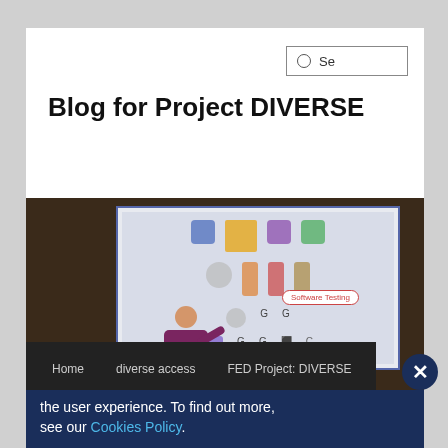Se
Blog for Project DIVERSE
[Figure (screenshot): Screenshot of a person pointing at a projected screen showing software testing icons and a speech bubble with 'Software Testing' text, in a dark-paneled room.]
Home
diverse access
FED Project: DIVERSE
User Manual
Videos
the user experience. To find out more, see our Cookies Policy.